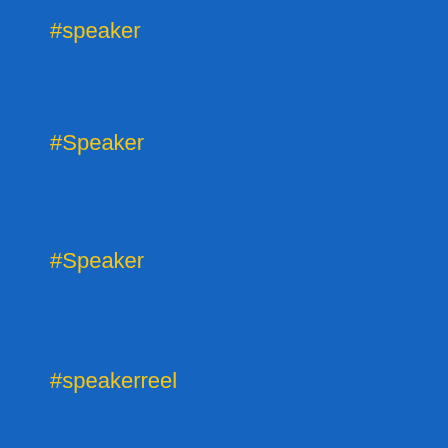#speaker
#Speaker
#Speaker
#speakerreel
#Speakers
#sprints
#spSCoimbatore
#startup
#Startup